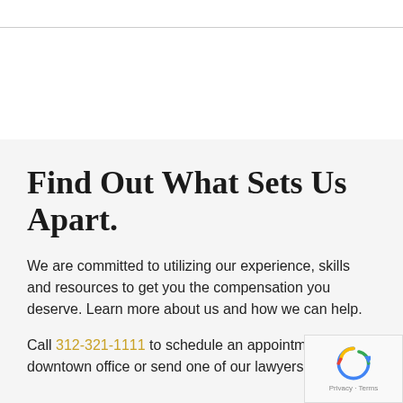Find Out What Sets Us Apart.
We are committed to utilizing our experience, skills and resources to get you the compensation you deserve. Learn more about us and how we can help.
Call 312-321-1111 to schedule an appointment at our downtown office or send one of our lawyers an em...